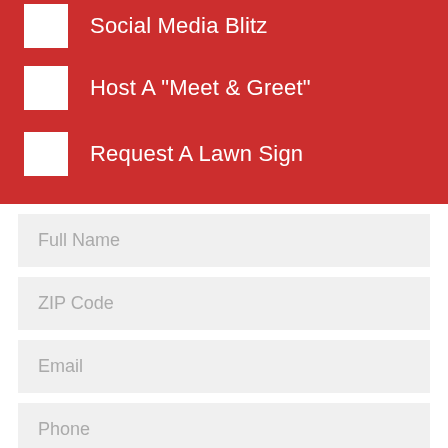Social Media Blitz
Host A "Meet & Greet"
Request A Lawn Sign
Full Name
ZIP Code
Email
Phone
Type your message here